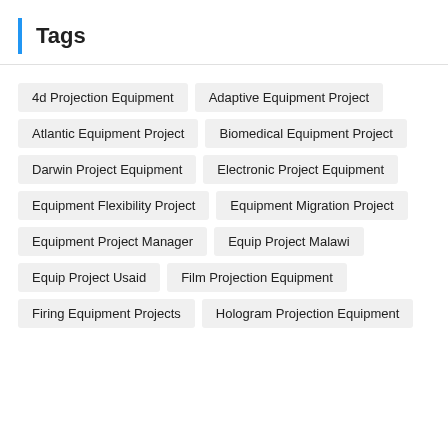Tags
4d Projection Equipment
Adaptive Equipment Project
Atlantic Equipment Project
Biomedical Equipment Project
Darwin Project Equipment
Electronic Project Equipment
Equipment Flexibility Project
Equipment Migration Project
Equipment Project Manager
Equip Project Malawi
Equip Project Usaid
Film Projection Equipment
Firing Equipment Projects
Hologram Projection Equipment